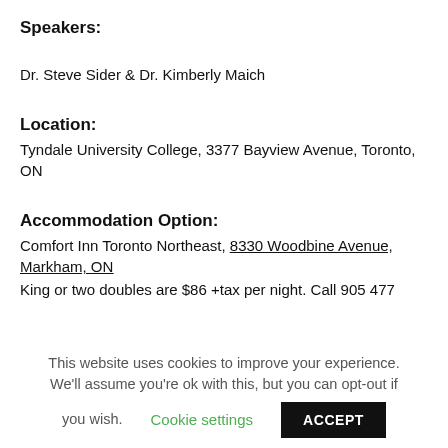Speakers:
Dr. Steve Sider & Dr. Kimberly Maich
Location:
Tyndale University College, 3377 Bayview Avenue, Toronto, ON
Accommodation Option:
Comfort Inn Toronto Northeast, 8330 Woodbine Avenue, Markham, ON
King or two doubles are $86 +tax per night. Call 905 477
This website uses cookies to improve your experience. We'll assume you're ok with this, but you can opt-out if you wish.
Cookie settings
ACCEPT